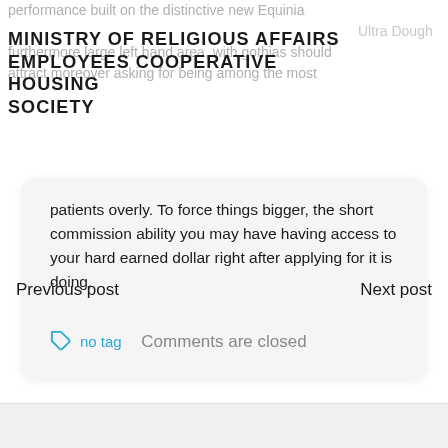MINISTRY OF RELIGIOUS AFFAIRS EMPLOYEES COOPERATIVE HOUSING SOCIETY
patients overly. To force things bigger, the short commission ability you may have having access to your hard earned dollar right after applying for it is doing.
no tag
Previous post
Next post
Comments are closed